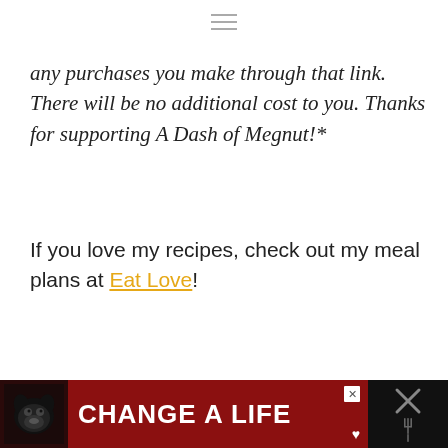any purchases you make through that link. There will be no additional cost to you. Thanks for supporting A Dash of Megnut!*
If you love my recipes, check out my meal plans at Eat Love!
[Figure (screenshot): Advertisement banner at the bottom of the page with a dark red background, a dog image on the left, bold white text reading 'CHANGE A LIFE' with a heart icon, a close button, and icons on the right side.]